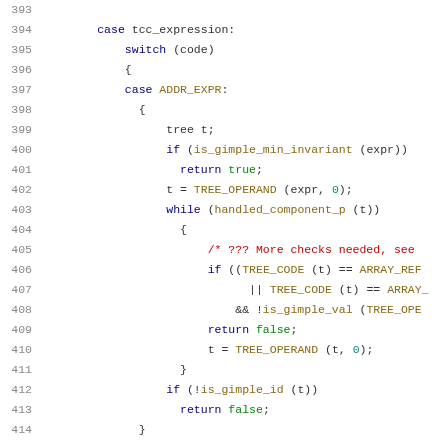Source code listing, lines 393-414, C code with syntax highlighting showing a tcc_expression case with switch statement and ADDR_EXPR handling